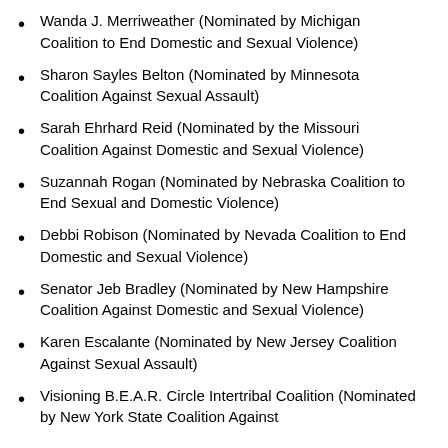Wanda J. Merriweather (Nominated by Michigan Coalition to End Domestic and Sexual Violence)
Sharon Sayles Belton (Nominated by Minnesota Coalition Against Sexual Assault)
Sarah Ehrhard Reid (Nominated by the Missouri Coalition Against Domestic and Sexual Violence)
Suzannah Rogan (Nominated by Nebraska Coalition to End Sexual and Domestic Violence)
Debbi Robison (Nominated by Nevada Coalition to End Domestic and Sexual Violence)
Senator Jeb Bradley (Nominated by New Hampshire Coalition Against Domestic and Sexual Violence)
Karen Escalante (Nominated by New Jersey Coalition Against Sexual Assault)
Visioning B.E.A.R. Circle Intertribal Coalition (Nominated by New York State Coalition Against